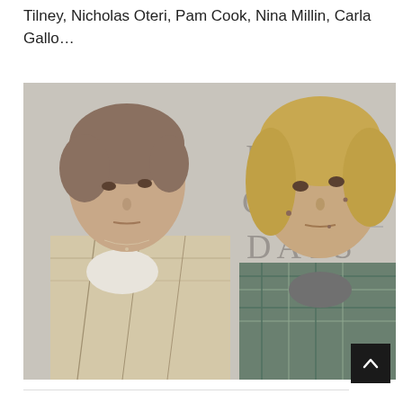Tilney, Nicholas Oteri, Pam Cook, Nina Millin, Carla Gallo…
[Figure (photo): Movie poster/still for 'Four Good Days' showing two women — an older woman with short brown hair on the left and a younger blonde woman on the right — standing in front of a wall with the text 'FOUR GOOD DAYS' written on it.]